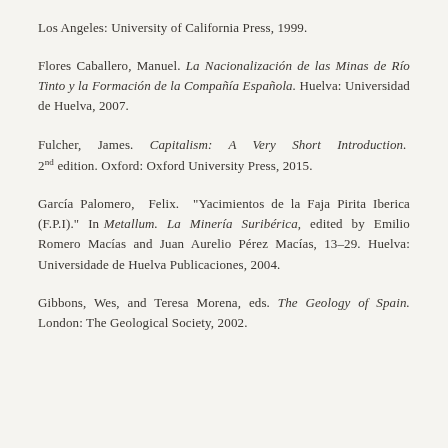Los Angeles: University of California Press, 1999.
Flores Caballero, Manuel. La Nacionalización de las Minas de Río Tinto y la Formación de la Compañía Española. Huelva: Universidad de Huelva, 2007.
Fulcher, James. Capitalism: A Very Short Introduction. 2nd edition. Oxford: Oxford University Press, 2015.
García Palomero, Felix. "Yacimientos de la Faja Pirita Iberica (F.P.I)." In Metallum. La Minería Suribérica, edited by Emilio Romero Macías and Juan Aurelio Pérez Macías, 13–29. Huelva: Universidade de Huelva Publicaciones, 2004.
Gibbons, Wes, and Teresa Morena, eds. The Geology of Spain. London: The Geological Society, 2002.